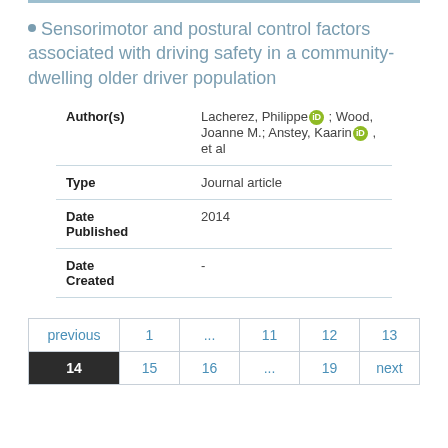Sensorimotor and postural control factors associated with driving safety in a community-dwelling older driver population
| Field | Value |
| --- | --- |
| Author(s) | Lacherez, Philippe ; Wood, Joanne M.; Anstey, Kaarin , et al |
| Type | Journal article |
| Date Published | 2014 |
| Date Created | - |
Pagination: previous 1 ... 11 12 13 14 15 16 ... 19 next